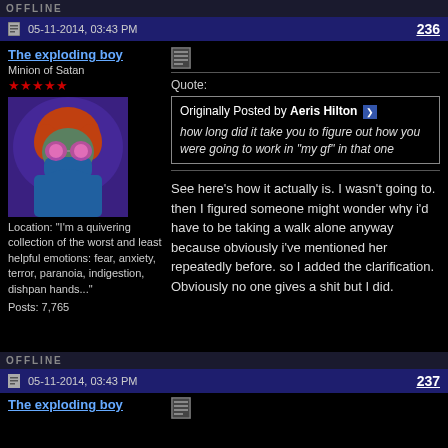OFFLINE
05-11-2014, 03:43 PM   236
The exploding boy
Minion of Satan
★★★★★
[Figure (illustration): Avatar image of a cartoon character with red hair wearing blue mask/goggles against a purple background]
Location: "I'm a quivering collection of the worst and least helpful emotions: fear, anxiety, terror, paranoia, indigestion, dishpan hands..."
Posts: 7,765
Quote:
Originally Posted by Aeris Hilton
how long did it take you to figure out how you were going to work in "my gf" in that one
See here's how it actually is. I wasn't going to. then I figured someone might wonder why i'd have to be taking a walk alone anyway because obviously i've mentioned her repeatedly before. so I added the clarification. Obviously no one gives a shit but I did.
OFFLINE
05-11-2014, 03:43 PM   237
The exploding boy